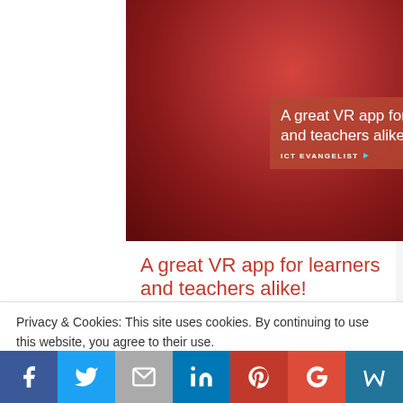[Figure (photo): Person wearing VR headset with red-toned photo overlay and text 'A great VR app for learners and teachers alike!' with ICT EVANGELIST branding]
A great VR app for learners and teachers alike!
By Mark Anderson | EdTech, iPad, T & L, VR | No Comments
There are many reasons why I love Teachmeets: the learning, new ideas
Privacy & Cookies: This site uses cookies. By continuing to use this website, you agree to their use.
To find out more, including how to control cookies, see here: Cookie Policy